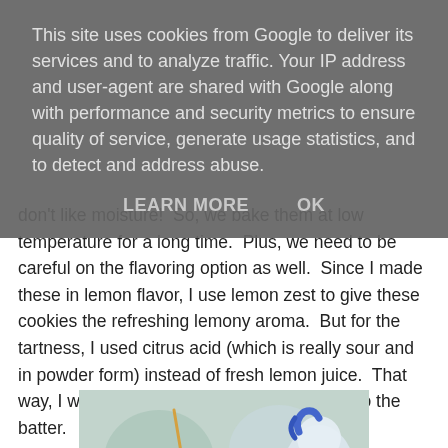This site uses cookies from Google to deliver its services and to analyze traffic. Your IP address and user-agent are shared with Google along with performance and security metrics to ensure quality of service, generate usage statistics, and to detect and address abuse.
LEARN MORE    OK
don't like moisture!  So, we bake them at low temperature for a long time.  Plus, we need to be careful on the flavoring option as well.  Since I made these in lemon flavor, I use lemon zest to give these cookies the refreshing lemony aroma.  But for the tartness, I used citrus acid (which is really sour and in powder form) instead of fresh lemon juice.  That way, I won't be adding too much moisture into the batter.
[Figure (photo): A hand holding a star-shaped cookie with colorful sprinkles and a dark filling, surrounded by small cookies in pastel green cups and a blue and white My Little Pony figurine in the background.]